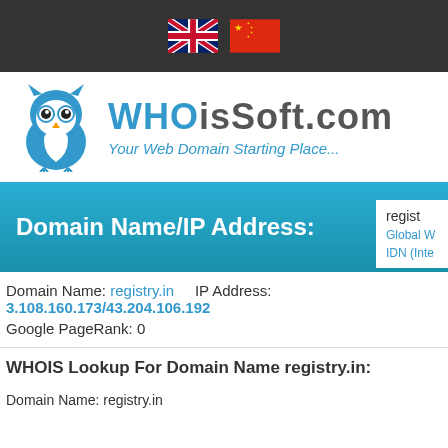[Figure (logo): UK flag and Chinese flag icons in dark top bar]
[Figure (logo): WHOisSoft.com owl logo with blue owl icon and tagline 'Your Web Domain Starting Place...']
Domain Name/IP Address:
regist   Global W   IDN (Inte
Domain Name: registry.in    IP Address: 3.108.160.173/43.204.106.192
Google PageRank: 0
WHOIS Lookup For Domain Name registry.in:
Domain Name: registry.in